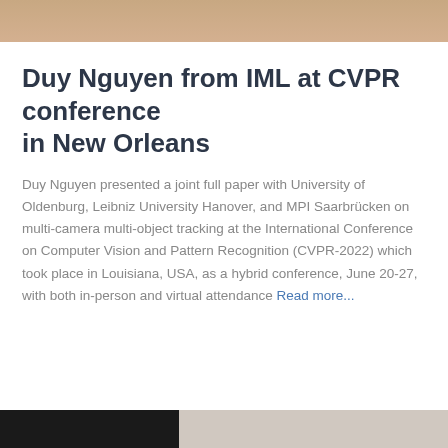[Figure (photo): Top portion of a photo partially visible at the top of the page]
Duy Nguyen from IML at CVPR conference in New Orleans
Duy Nguyen presented a joint full paper with University of Oldenburg, Leibniz University Hanover, and MPI Saarbrücken on multi-camera multi-object tracking at the International Conference on Computer Vision and Pattern Recognition (CVPR-2022) which took place in Louisiana, USA, as a hybrid conference, June 20-27, with both in-person and virtual attendance Read more…
[Figure (photo): Bottom portion of another photo partially visible at the bottom of the page]